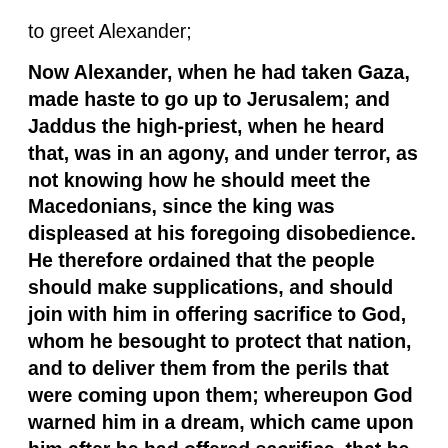to greet Alexander;
Now Alexander, when he had taken Gaza, made haste to go up to Jerusalem; and Jaddus the high-priest, when he heard that, was in an agony, and under terror, as not knowing how he should meet the Macedonians, since the king was displeased at his foregoing disobedience. He therefore ordained that the people should make supplications, and should join with him in offering sacrifice to God, whom he besought to protect that nation, and to deliver them from the perils that were coming upon them; whereupon God warned him in a dream, which came upon him after he had offered sacrifice, that he should take courage, and adorn the city, and open the gates; that the rest should appear in white garments, but that he and the priests should meet the king in the habits proper to